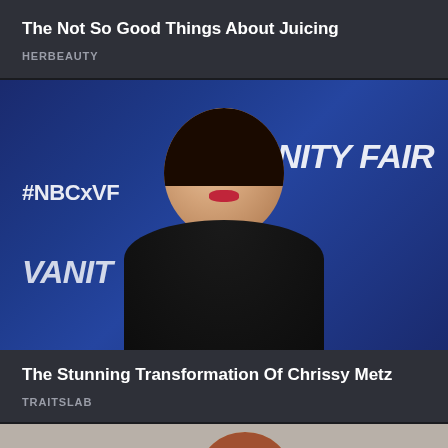The Not So Good Things About Juicing
HERBEAUTY
[Figure (photo): Woman smiling at camera at a Vanity Fair / NBC event event, backdrop reads #NBCxVF and VANITY FAIR, woman wearing black top]
The Stunning Transformation Of Chrissy Metz
TRAITSLAB
[Figure (photo): Partial photo of a person with reddish-brown hair, cropped at the bottom of the page]